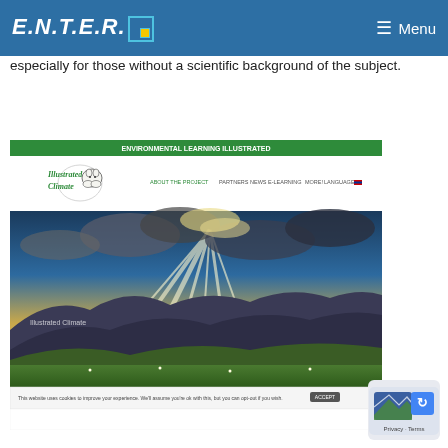E.N.T.E.R. Menu
especially for those without a scientific background of the subject.
[Figure (screenshot): Screenshot of the 'Illustrated Climate' website showing a green header banner with the site title 'ENVIRONMENTAL LEARNING ILLUSTRATED', a navigation bar with menu items (ABOUT THE PROJECT, PARTNERS, NEWS, E-LEARNING, MORE!, LANGUAGE), an illustrated cow logo with cursive 'Illustrated Climate' text, and a large hero image of a dramatic mountain landscape with sunbeams breaking through clouds over green rolling hills. At the bottom is a cookie consent notification bar.]
[Figure (screenshot): Partial privacy/ReCAPTCHA badge visible in the bottom-right corner showing a mountain icon and 'Privacy - Terms' text.]